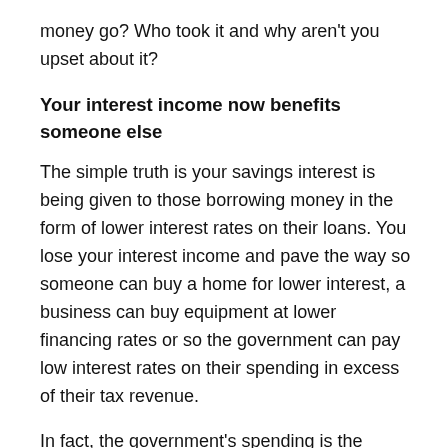money go? Who took it and why aren't you upset about it?
Your interest income now benefits someone else
The simple truth is your savings interest is being given to those borrowing money in the form of lower interest rates on their loans. You lose your interest income and pave the way so someone can buy a home for lower interest, a business can buy equipment at lower financing rates or so the government can pay low interest rates on their spending in excess of their tax revenue.
In fact, the government's spending is the elephant in the room. The government cannot afford to pay high interest on their excess spending, so there is